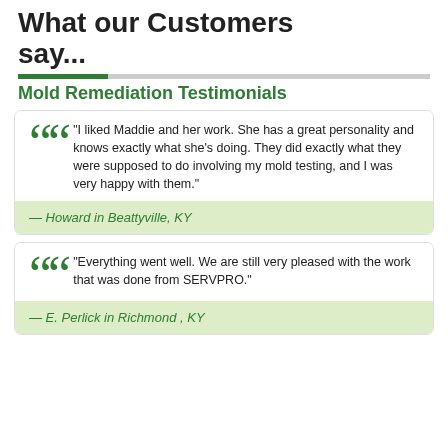What our Customers say...
Mold Remediation Testimonials
"I liked Maddie and her work. She has a great personality and knows exactly what she's doing. They did exactly what they were supposed to do involving my mold testing, and I was very happy with them."
— Howard in Beattyville, KY
"Everything went well. We are still very pleased with the work that was done from SERVPRO."
— E. Perlick in Richmond , KY